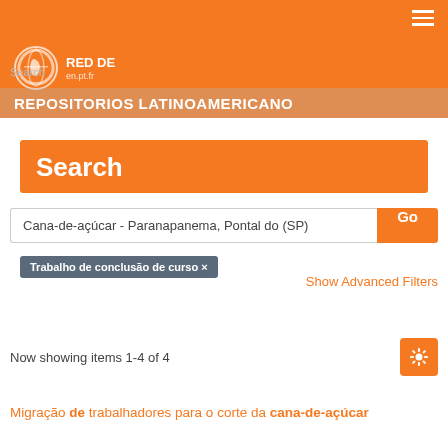RED DE REPOSITORIOS LATINOAMERICANO
Search
Cana-de-açúcar - Paranapanema, Pontal do (SP)
Trabalho de conclusão de curso ×
Show Advanced Filters
Now showing items 1-4 of 4
Migração de trabalhadores para o corte da cana-de-açúcar